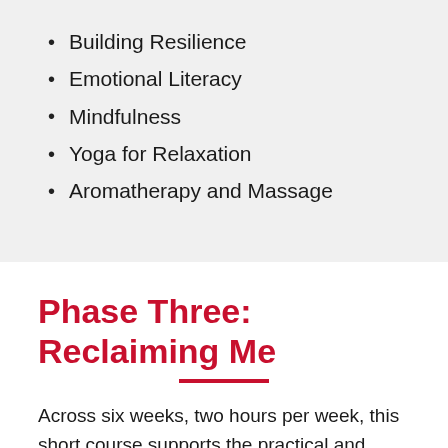Building Resilience
Emotional Literacy
Mindfulness
Yoga for Relaxation
Aromatherapy and Massage
Phase Three: Reclaiming Me
Across six weeks, two hours per week, this short course supports the practical and emotional challenges associated with change and life after caring.